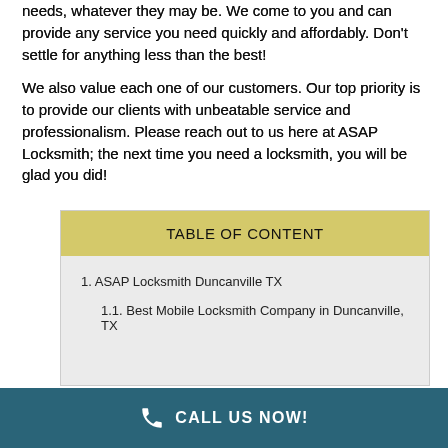needs, whatever they may be. We come to you and can provide any service you need quickly and affordably. Don't settle for anything less than the best!
We also value each one of our customers. Our top priority is to provide our clients with unbeatable service and professionalism. Please reach out to us here at ASAP Locksmith; the next time you need a locksmith, you will be glad you did!
| TABLE OF CONTENT |
| --- |
| 1. ASAP Locksmith Duncanville TX |
| 1.1. Best Mobile Locksmith Company in Duncanville, TX |
CALL US NOW!